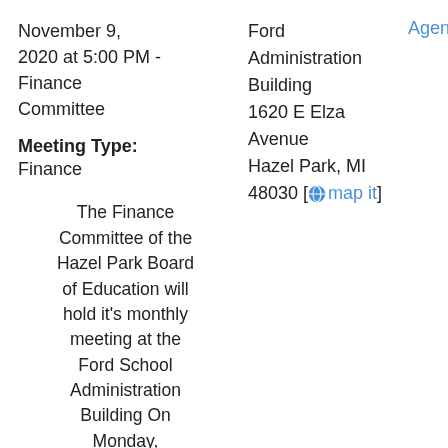November 9, 2020 at 5:00 PM - Finance Committee
Ford Administration Building 1620 E Elza Avenue Hazel Park, MI 48030 [map it]
Agenda
Meeting Type:
Finance
The Finance Committee of the Hazel Park Board of Education will hold it's monthly meeting at the Ford School Administration Building On Monday, November 9, 2020 at 5:00PM